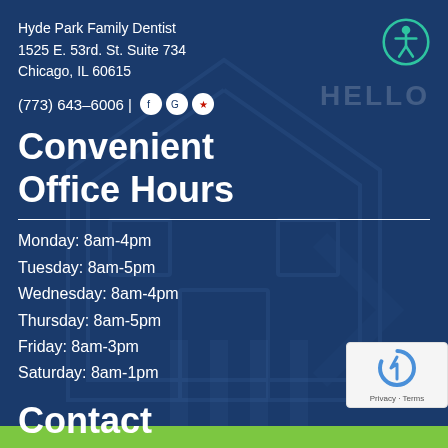Hyde Park Family Dentist
1525 E. 53rd. St. Suite 734
Chicago, IL 60615
(773) 643-6006 |
Convenient Office Hours
Monday: 8am-4pm
Tuesday: 8am-5pm
Wednesday: 8am-4pm
Thursday: 8am-5pm
Friday: 8am-3pm
Saturday: 8am-1pm
Contact
[Figure (other): Green Schedule Now button with checkmark icon]